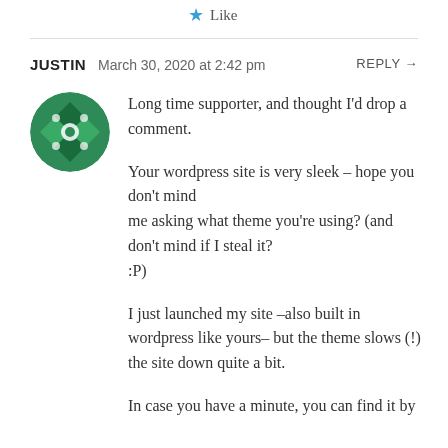Like
JUSTIN   March 30, 2020 at 2:42 pm   REPLY →
[Figure (illustration): Green abstract avatar icon (circular, geometric pattern on green background)]
Long time supporter, and thought I'd drop a comment.

Your wordpress site is very sleek – hope you don't mind
me asking what theme you're using? (and don't mind if I steal it?
:P)

I just launched my site –also built in wordpress like yours– but the theme slows (!) the site down quite a bit.

In case you have a minute, you can find it by